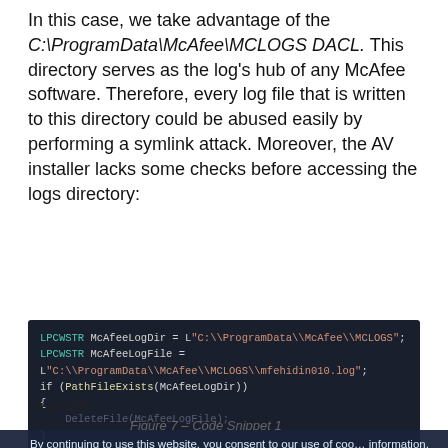In this case, we take advantage of the C:\ProgramData\McAfee\MCLOGS DACL. This directory serves as the log's hub of any McAfee software. Therefore, every log file that is written to this directory could be abused easily by performing a symlink attack. Moreover, the AV installer lacks some checks before accessing the logs directory:
[Figure (screenshot): Dark-background code snippet showing LPCWSTR declarations for McAfeeLogDir and McAfeeLogFile, and a PathFileExists check, in a dark IDE theme.]
Figure 7 – Code Snippet 1
By continuing to use this website, you consent to our use of cookies. For more information, please read our cookie policy. To review cookie preferences, click settings.
he problem with he McAfeeLogD reparse point to IRPC Control. The installer only